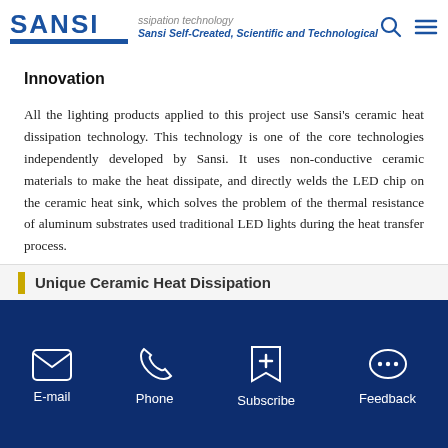SANSI | ceramic heat dissipation technology | Sansi Self-Created, Scientific and Technological
Innovation
All the lighting products applied to this project use Sansi's ceramic heat dissipation technology. This technology is one of the core technologies independently developed by Sansi. It uses non-conductive ceramic materials to make the heat dissipate, and directly welds the LED chip on the ceramic heat sink, which solves the problem of the thermal resistance of aluminum substrates used traditional LED lights during the heat transfer process.
Unique Ceramic Heat Dissipation
E-mail | Phone | Subscribe | Feedback